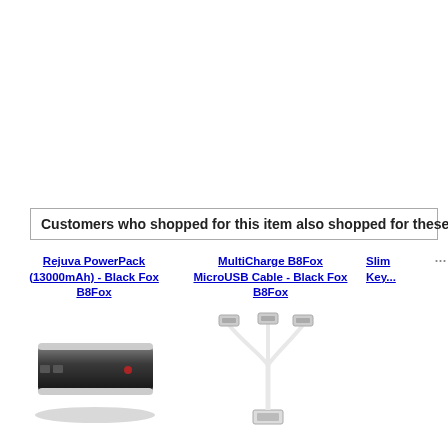Customers who shopped for this item also shopped for these items
Rejuva PowerPack (13000mAh) - Black Fox B8Fox
[Figure (photo): Black power bank device]
MultiCharge B8Fox MicroUSB Cable - Black Fox B8Fox
[Figure (photo): White multi-USB charging cable with multiple connectors]
Slim Key...